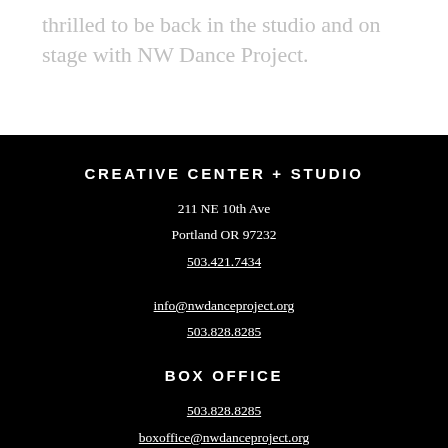thrilled to be back in the studio and on stage with NW Dance Project.
CREATIVE CENTER + STUDIO
211 NE 10th Ave
Portland OR 97232
503.421.7434

info@nwdanceproject.org
503.828.8285
BOX OFFICE
503.828.8285
boxoffice@nwdanceproject.org